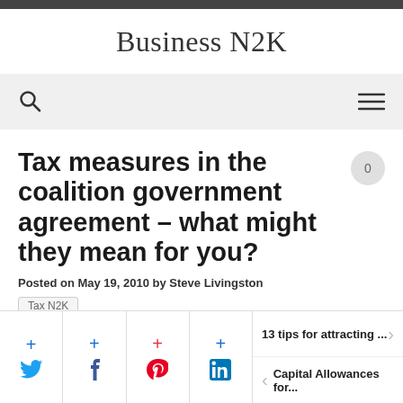Business N2K
Tax measures in the coalition government agreement – what might they mean for you?
Posted on May 19, 2010 by Steve Livingston
Tax N2K
13 tips for attracting ...
Capital Allowances for...